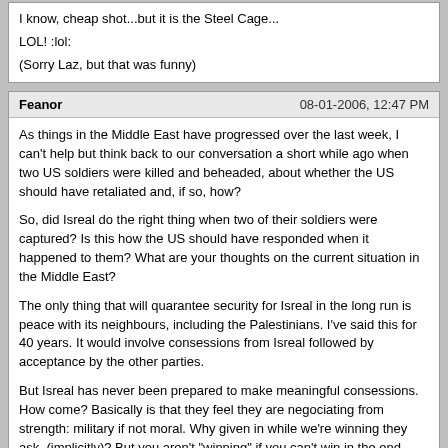I know, cheap shot...but it is the Steel Cage...
LOL! :lol:
(Sorry Laz, but that was funny)
Feanor
08-01-2006, 12:47 PM
As things in the Middle East have progressed over the last week, I can't help but think back to our conversation a short while ago when two US soldiers were killed and beheaded, about whether the US should have retaliated and, if so, how?
So, did Isreal do the right thing when two of their soldiers were captured? Is this how the US should have responded when it happened to them? What are your thoughts on the current situation in the Middle East?
The only thing that will quarantee security for Isreal in the long run is peace with its neighbours, including the Palestinians. I've said this for 40 years. It would involve consessions from Isreal followed by acceptance by the other parties.
But Isreal has never been prepared to make meaningful consessions. How come? Basically is that they feel they are negociating from strength: military if not moral. Why given in while we're winning they ask, (implicitly)? But you aren't "winning" if you can't win in the end. And Isreal can't bring the issue to an end using the strategies they have.
There is a lot of hypocracy in Isreal's position. They say, "Palestine Authority, get rid of Hammas, and we'll talk". And they say, "Lebanese Government, get rid of Hezbullah, and we'll leave". Apart from the fact that these supposed authorities simply cannot do those things, whose histoic actions motivated and gave pretext for these organizations? The answer this question is complex, but it begins with the Zionist movement.